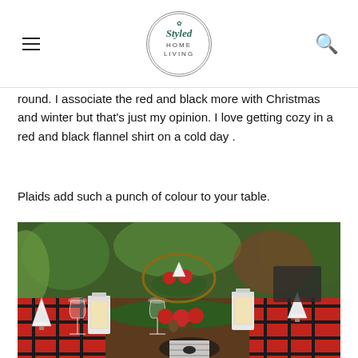Styled Home Living
round. I associate the red and black more with Christmas and winter but that's just my opinion. I love getting cozy in a red and black flannel shirt on a cold day .
Plaids add such a punch of colour to your table.
[Figure (photo): Outdoor Christmas table setting with red and black plaid tablecloth/runner, white lanterns with candles, red ornament balls, pinecones, white glittery Christmas trees, wine glasses, and greenery centerpieces on a wood table with garden backdrop.]